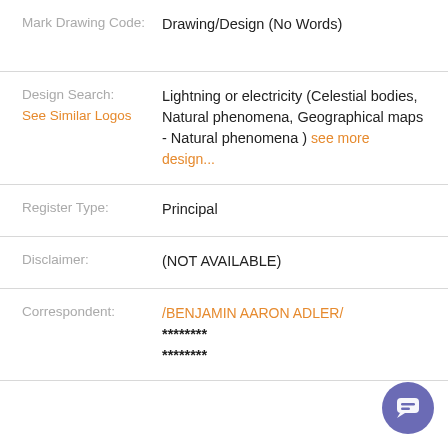Mark Drawing Code: Drawing/Design (No Words)
Design Search: See Similar Logos — Lightning or electricity (Celestial bodies, Natural phenomena, Geographical maps - Natural phenomena ) see more design...
Register Type: Principal
Disclaimer: (NOT AVAILABLE)
Correspondent: /BENJAMIN AARON ADLER/ ******** ********